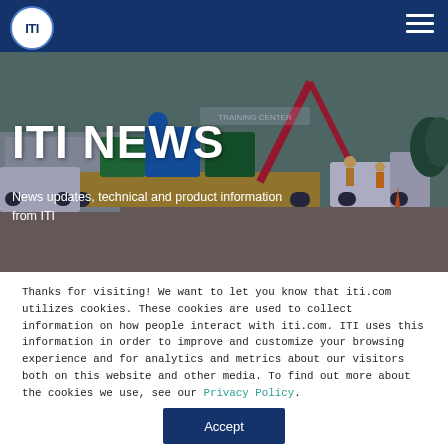ITI
[Figure (photo): Outdoor industrial training scene showing heavy equipment, colorful machinery (blue, green, red), a flatbed trailer, white trucks, and workers in safety vests and hard hats at a training center.]
ITI NEWS
News updates, technical and product information from ITI
Thanks for visiting! We want to let you know that iti.com utilizes cookies. These cookies are used to collect information on how people interact with iti.com. ITI uses this information in order to improve and customize your browsing experience and for analytics and metrics about our visitors both on this website and other media. To find out more about the cookies we use, see our Privacy Policy.
Accept